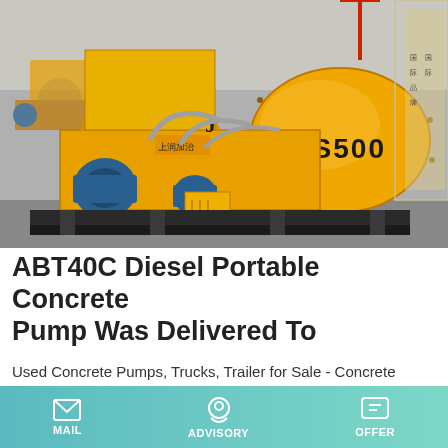[Figure (photo): Row of yellow JS500 concrete mixers/pumps lined up in an industrial yard, with blue electric motors and gray hoses visible]
ABT40C Diesel Portable Concrete Pump Was Delivered To
Used Concrete Pumps, Trucks, Trailer for Sale - Concrete
Learn More
[Figure (photo): Partial view of construction equipment at bottom of page]
MAIL   ADVISORY   OFFER